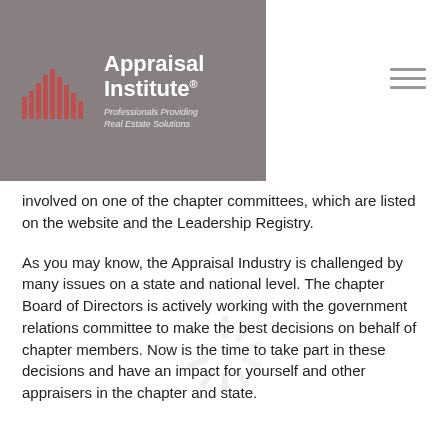[Figure (logo): Appraisal Institute logo on grey banner background. Red bar chart icon on left, white text 'Appraisal Institute®' and tagline 'Professionals Providing Real Estate Solutions' on right.]
involved on one of the chapter committees, which are listed on the website and the Leadership Registry.
As you may know, the Appraisal Industry is challenged by many issues on a state and national level. The chapter Board of Directors is actively working with the government relations committee to make the best decisions on behalf of chapter members. Now is the time to take part in these decisions and have an impact for yourself and other appraisers in the chapter and state.